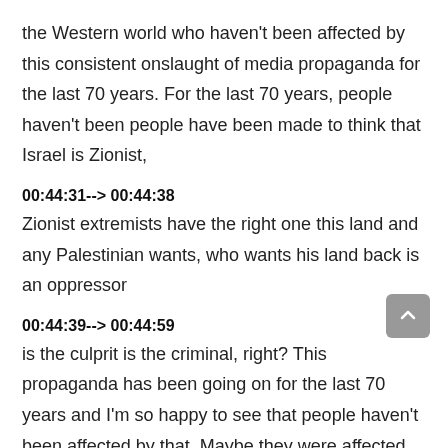the Western world who haven't been affected by this consistent onslaught of media propaganda for the last 70 years. For the last 70 years, people haven't been people have been made to think that Israel is Zionist,
00:44:31--> 00:44:38
Zionist extremists have the right one this land and any Palestinian wants, who wants his land back is an oppressor
00:44:39--> 00:44:59
is the culprit is the criminal, right? This propaganda has been going on for the last 70 years and I'm so happy to see that people haven't been affected by that. Maybe they were affected. And when they went to Palestine, like that politician was mentioning that when you go there, it changes you. When you see the oppression when you see